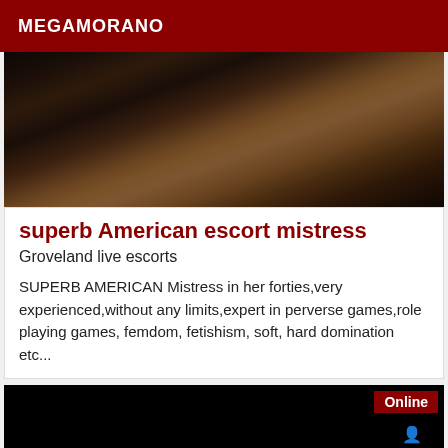MEGAMORANO
[Figure (photo): Partial photo showing legs in dark stockings on a wooden floor background, dark tones]
superb American escort mistress
Groveland live escorts
SUPERB AMERICAN Mistress in her forties,very experienced,without any limits,expert in perverse games,role playing games, femdom, fetishism, soft, hard domination etc...
[Figure (photo): Partially visible photo with Online badge in top-right corner; upper portion is black, lower portion shows reddish/skin tones]